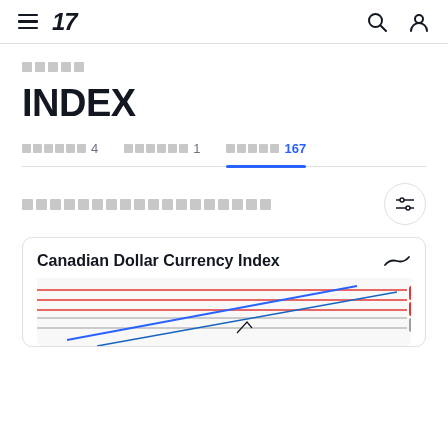TradingView navigation bar with hamburger menu, logo '17', search and user icons
□□□□□
INDEX
□□□□□□ 4   □□□□□□ 1   □□□□□ 167
□□□□□□□□□□□□□□□□□□
Canadian Dollar Currency Index
[Figure (continuous-plot): Canadian Dollar Currency Index line chart showing multiple colored lines (red, gray, blue) trending with price levels around 1.32x visible on right axis]